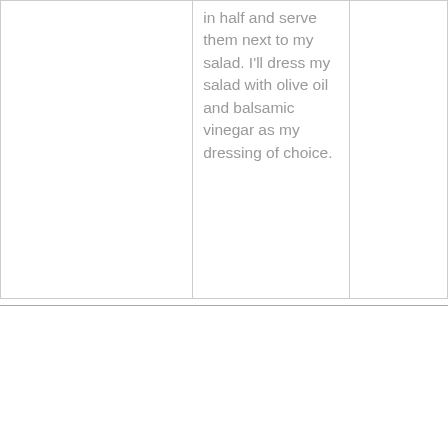in half and serve them next to my salad. I'll dress my salad with olive oil and balsamic vinegar as my dressing of choice.
Tuesday Menu
Beef Tips with Mushrooms, Green Peppers, & Onions
Prep
Start by slicing your green peppers (I
Groce Items:
Sirl Ste pre